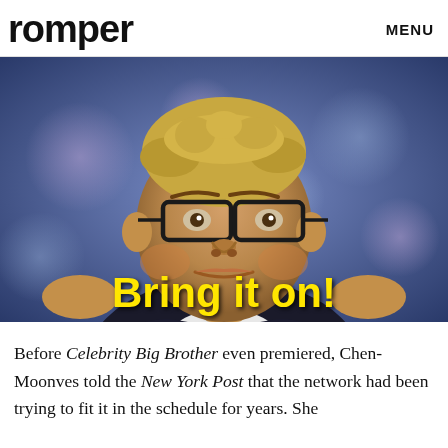romper   MENU
[Figure (photo): A man with glasses and blonde hair making an expressive face, with the text 'Bring it on!' overlaid in bold yellow at the bottom of the image.]
Before Celebrity Big Brother even premiered, Chen-Moonves told the New York Post that the network had been trying to fit it in the schedule for years. She